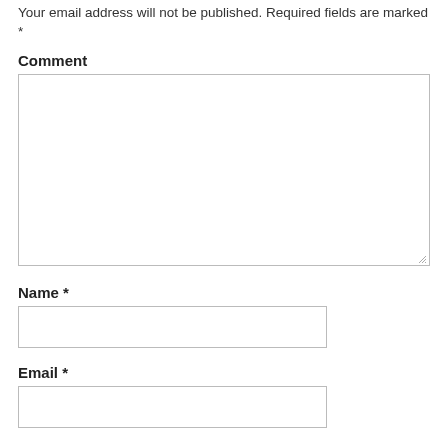Your email address will not be published. Required fields are marked *
Comment
[Figure (screenshot): Large empty comment textarea input box with resize handle at bottom right]
Name *
[Figure (screenshot): Empty name text input field]
Email *
[Figure (screenshot): Empty email text input field (partially visible)]